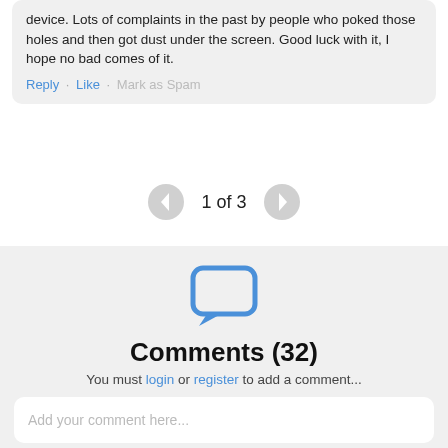device. Lots of complaints in the past by people who poked those holes and then got dust under the screen. Good luck with it, I hope no bad comes of it.
Reply · Like · Mark as Spam
1 of 3
[Figure (illustration): Speech bubble / comment icon in blue outline]
Comments (32)
You must login or register to add a comment...
Add your comment here...